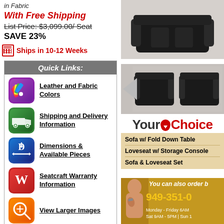in Fabric
With Free Shipping
List Price: $3,099.00/ Seat
SAVE 23%
Ships in 10-12 Weeks
Quick Links:
Leather and Fabric Colors
Shipping and Delivery Information
Dimensions & Available Pieces
Seatcraft Warranty Information
View Larger Images
[Figure (photo): Black recliner sofa product image top]
[Figure (photo): Black sofa and loveseat set thumbnail]
YourChoice
Sofa w/ Fold Down Table
Loveseat w/ Storage Console
Sofa & Loveseat Set
You can also order b
949-351-0
Monday - Friday 6AM
Sat 9AM - 5PM | Sun 1